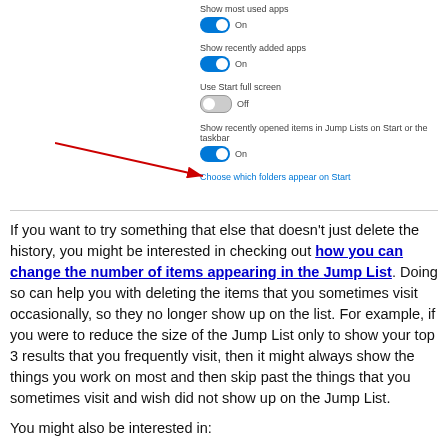[Figure (screenshot): Windows Settings screenshot showing toggle switches: 'Show most used apps' (On), 'Show recently added apps' (On), 'Use Start full screen' (Off), 'Show recently opened items in Jump Lists on Start or the taskbar' (On), with a red arrow pointing to the last toggle and a blue link 'Choose which folders appear on Start']
If you want to try something that else that doesn't just delete the history, you might be interested in checking out how you can change the number of items appearing in the Jump List. Doing so can help you with deleting the items that you sometimes visit occasionally, so they no longer show up on the list. For example, if you were to reduce the size of the Jump List only to show your top 3 results that you frequently visit, then it might always show the things you work on most and then skip past the things that you sometimes visit and wish did not show up on the Jump List.
You might also be interested in: